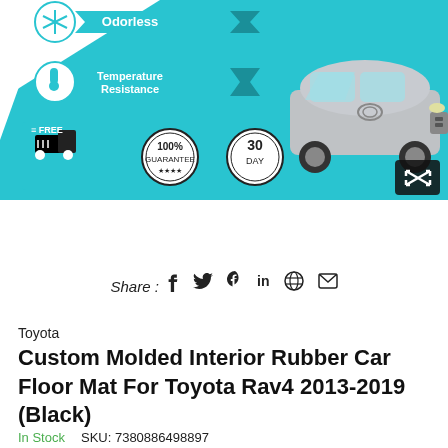[Figure (infographic): Product infographic showing a silver Toyota RAV4 SUV on a cyan/teal background with product feature badges: Odorless, Temperature Resistance, Free Shipping, 100% Guarantee, 30 Day. A black expand icon is in bottom right corner.]
Share : f 𝕡 in ⊕ ✉
Toyota
Custom Molded Interior Rubber Car Floor Mat For Toyota Rav4 2013-2019 (Black)
In Stock   SKU: 7380886498897